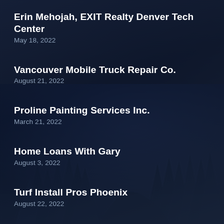Erin Mehojah, EXIT Realty Denver Tech Center
May 18, 2022
Vancouver Mobile Truck Repair Co.
August 21, 2022
Proline Painting Services Inc.
March 21, 2022
Home Loans With Gary
August 3, 2022
Turf Install Pros Phoenix
August 22, 2022